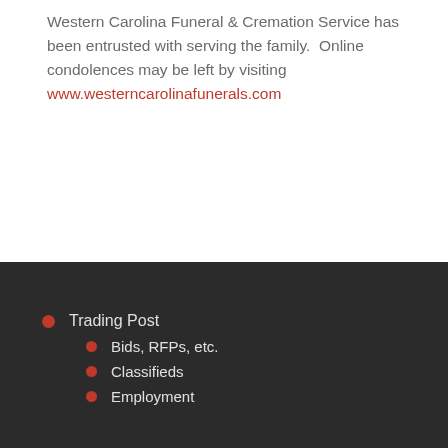Western Carolina Funeral & Cremation Service has been entrusted with serving the family.  Online condolences may be left by visiting www.westerncarolinafunerals.com
Trading Post
Bids, RFPs, etc.
Classifieds
Employment